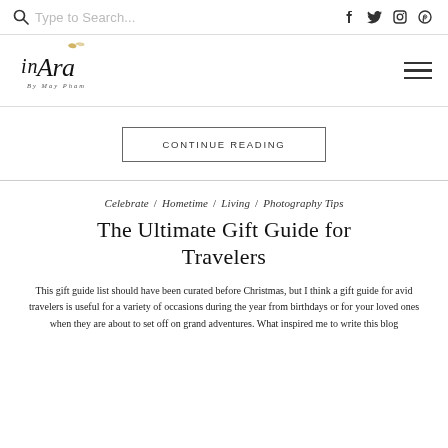Type to Search...
[Figure (logo): inAra By May Pham cursive logo in black and gold]
CONTINUE READING
Celebrate / Hometime / Living / Photography Tips
The Ultimate Gift Guide for Travelers
This gift guide list should have been curated before Christmas, but I think a gift guide for avid travelers is useful for a variety of occasions during the year from birthdays or for your loved ones when they are about to set off on grand adventures. What inspired me to write this blog